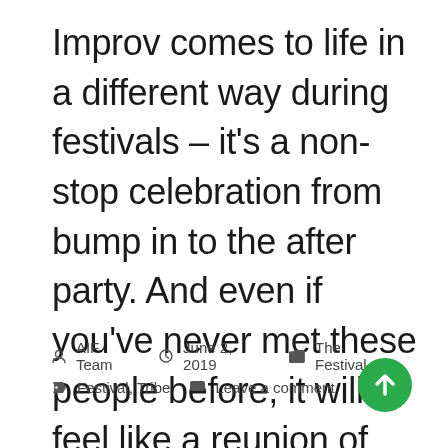Improv comes to life in a different way during festivals – it's a non-stop celebration from bump in to the after party. And even if you've never met these people before, it will feel like a reunion of friends you never knew you had.
AIF Team  June 2, 2019  The Festival  Festival, Tribe  Leave a comment